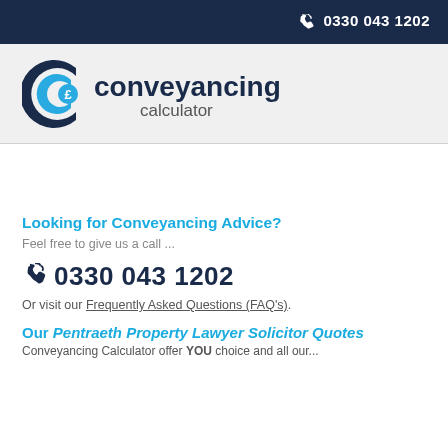0330 043 1202
[Figure (logo): Conveyancing Calculator logo with stylized C and pound sign icon]
Looking for Conveyancing Advice?
Feel free to give us a call ...
0330 043 1202
Or visit our Frequently Asked Questions (FAQ's).
Our Pentraeth Property Lawyer Solicitor Quotes
Conveyancing Calculator offer YOU choice and all our...